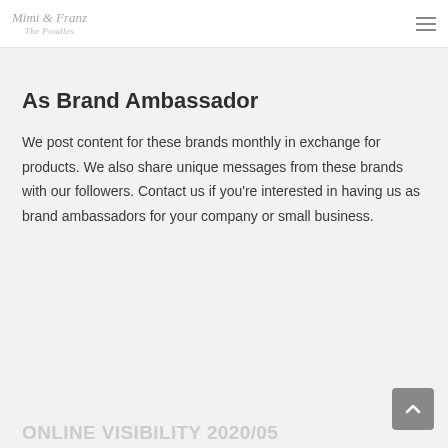Mimi & Franz The Poodles
As Brand Ambassador
We post content for these brands monthly in exchange for products. We also share unique messages from these brands with our followers. Contact us if you're interested in having us as brand ambassadors for your company or small business.
ONLINE VISIBILITY 2020/05